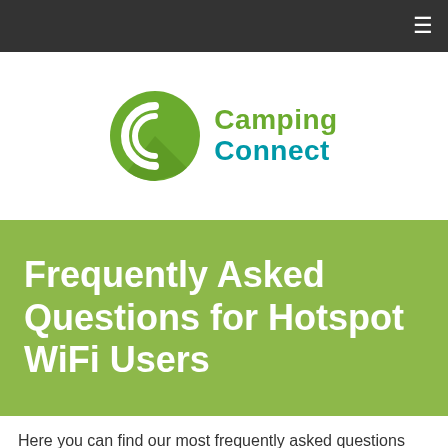≡
[Figure (logo): Camping Connect logo: green circle with stylized C icon and 'Camping Connect' text in green and teal]
Frequently Asked Questions for Hotspot WiFi Users
Here you can find our most frequently asked questions